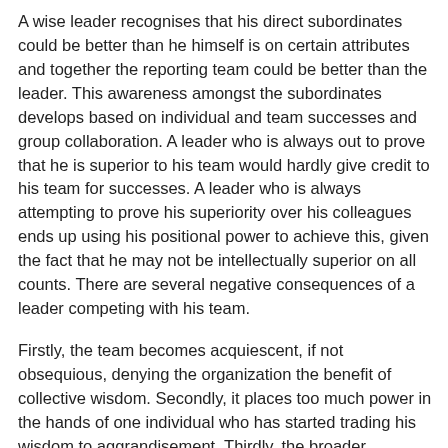A wise leader recognises that his direct subordinates could be better than he himself is on certain attributes and together the reporting team could be better than the leader. This awareness amongst the subordinates develops based on individual and team successes and group collaboration. A leader who is always out to prove that he is superior to his team would hardly give credit to his team for successes. A leader who is always attempting to prove his superiority over his colleagues ends up using his positional power to achieve this, given the fact that he may not be intellectually superior on all counts. There are several negative consequences of a leader competing with his team.
Firstly, the team becomes acquiescent, if not obsequious, denying the organization the benefit of collective wisdom. Secondly, it places too much power in the hands of one individual who has started trading his wisdom to aggrandisement. Thirdly, the broader organization becomes centrally driven diluting the authority and relevance of a whole team of leaders. Two things happen as a result. Potential leaders become blind followers, passive aggressors or take up early exits. By the time the leader and the Board come to realize the folly, mostly through some failures, they would find that the organization has no